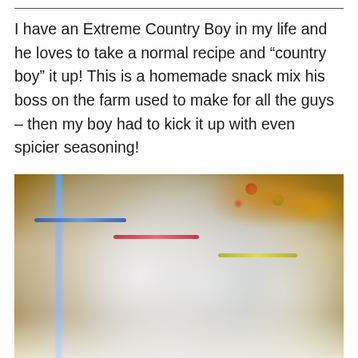I have an Extreme Country Boy in my life and he loves to take a normal recipe and “country boy” it up! This is a homemade snack mix his boss on the farm used to make for all the guys – then my boy had to kick it up with even spicier seasoning!
[Figure (photo): Overhead photo of multiple zip-lock bags filled with homemade spicy Chex mix snack, with colorful M&M candies visible. Bags have blue, red, and yellow zip closures. Background shows bowls of snack mix with red and green M&Ms on a wooden surface.]